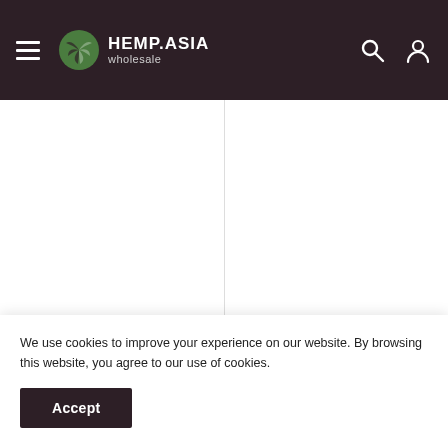HEMP.ASIA wholesale
[Figure (photo): White product image area for Black Leaf Diamond Aluminium product (left card), blank white space]
[Figure (photo): White product image area for Black Leaf Diamond product (right card, partially cropped), blank white space]
BLACK LEAF
Black Leaf Diamond Aluminium
BLACK LEAF
Black Leaf Diamond
We use cookies to improve your experience on our website. By browsing this website, you agree to our use of cookies.
Accept